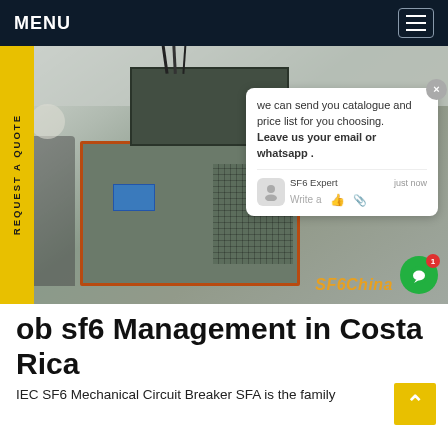MENU
[Figure (photo): Industrial SF6 gas management machine in a factory setting. A worker in a hard hat is visible on the left. The machine is a large green metal cabinet with red trim, ventilation grilles, and a blue control panel. Various cables and equipment are visible. A chat popup overlay reads: 'we can send you catalogue and price list for you choosing. Leave us your email or whatsapp .' with SF6 Expert avatar and timestamp 'just now'. SF6China watermark in orange at bottom right.]
ob sf6 Management in Costa Rica
IEC SF6 Mechanical Circuit Breaker SFA is the family